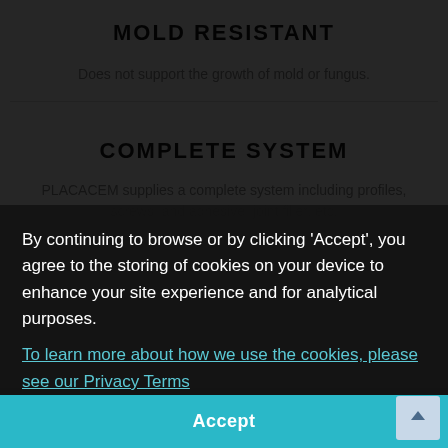MOLD RESISTANT
Does not support the growth of mold or fungus.
COMPLETE SYSTEM
PLACACEM supplies a complete system including profiles,
screws, and adhesive, joint filler, etc.
OUR MISSION:
TO BE THE LEADING SUPPLIER OF INNOVATIVE CEMENT BOARD SOLUTIONS.
By continuing to browse or by clicking 'Accept', you agree to the storing of cookies on your device to enhance your site experience and for analytical purposes. To learn more about how we use the cookies, please see our Privacy Terms
Accept